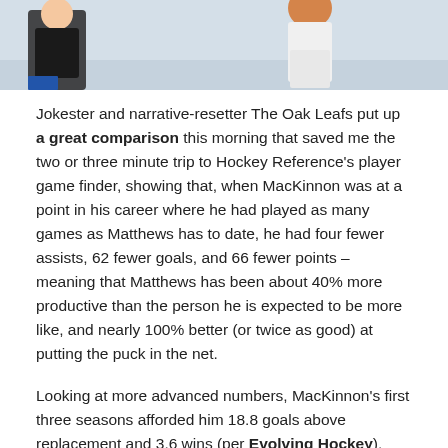[Figure (photo): Top portion of a hockey player photo, showing upper body in uniform against a light rink background]
Jokester and narrative-resetter The Oak Leafs put up a great comparison this morning that saved me the two or three minute trip to Hockey Reference's player game finder, showing that, when MacKinnon was at a point in his career where he had played as many games as Matthews has to date, he had four fewer assists, 62 fewer goals, and 66 fewer points – meaning that Matthews has been about 40% more productive than the person he is expected to be more like, and nearly 100% better (or twice as good) at putting the puck in the net.
Looking at more advanced numbers, MacKinnon's first three seasons afforded him 18.8 goals above replacement and 3.6 wins (per Evolving Hockey), while Matthews has